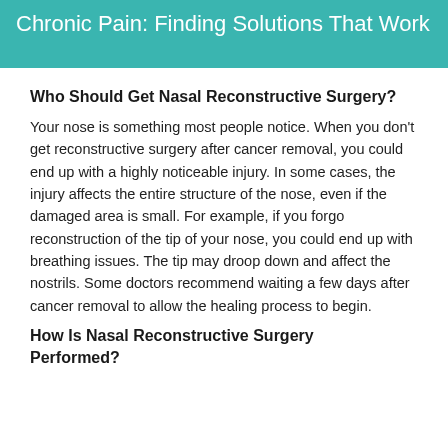Chronic Pain: Finding Solutions That Work
Who Should Get Nasal Reconstructive Surgery?
Your nose is something most people notice. When you don't get reconstructive surgery after cancer removal, you could end up with a highly noticeable injury. In some cases, the injury affects the entire structure of the nose, even if the damaged area is small. For example, if you forgo reconstruction of the tip of your nose, you could end up with breathing issues. The tip may droop down and affect the nostrils. Some doctors recommend waiting a few days after cancer removal to allow the healing process to begin.
How Is Nasal Reconstructive Surgery Performed?